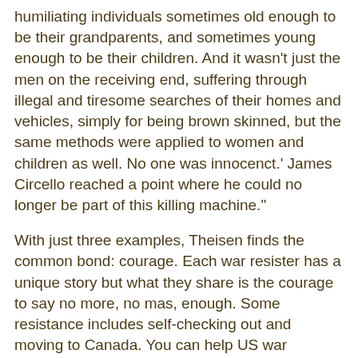humiliating individuals sometimes old enough to be their grandparents, and sometimes young enough to be their children. And it wasn't just the men on the receiving end, suffering through illegal and tiresome searches of their homes and vehicles, simply for being brown skinned, but the same methods were applied to women and children as well. No one was innocenct.' James Circello reached a point where he could no longer be part of this killing machine."
With just three examples, Theisen finds the common bond: courage. Each war resister has a unique story but what they share is the courage to say no more, no mas, enough. Some resistance includes self-checking out and moving to Canada. You can help US war resisters in that country -- help online as well. They were dealt a serious set-back when the Canadian Supreme Court refused to hear the appeals of Jeremy Hinzman and Brandon Hughey. Today, Canada's Parliament remaining the best hope for safe harbor war resisters have, you can make your voice heard by the Canadian parliament which has the ability to pass legislation to grant war resisters the right to remain in Canada. Three e-mails addresses to focus on are: Prime Minister Stephen